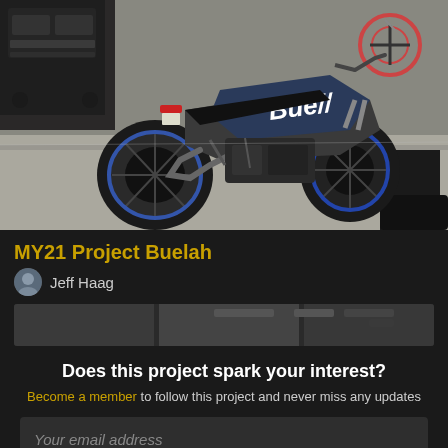[Figure (photo): A Buell motorcycle parked on a street/sidewalk, photographed from the rear-left side angle. The motorcycle has a blue and black color scheme with 'Buell' branding visible on the tank. A car is visible on the left and a bicycle on the upper right.]
MY21 Project Buelah
Jeff Haag
[Figure (photo): Thumbnail strip image partially visible]
Does this project spark your interest?
Become a member to follow this project and never miss any updates
Your email address